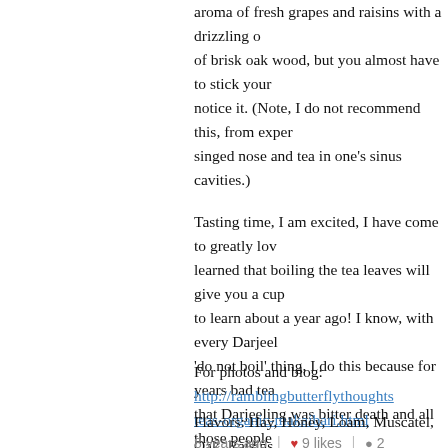aroma of fresh grapes and raisins with a drizzling of brisk oak wood, but you almost have to stick your nose notice it. (Note, I do not recommend this, from experience singed nose and tea in one's sinus cavities.)
Tasting time, I am excited, I have come to greatly love learned that boiling the tea leaves will give you a cup to learn about a year ago! I know, with every Darjeeling 'do not boil' thing, I do this because for years bad tea that Darjeeling was bitter death and all those people were bonkers. The taste of this tea is deliciously mild freshly mown hay and new vegetation. This fades to really wakes up the mouth (and the me.) After this sweet raisin that that lingers as a delightful aftertaste
For photos and blog: http://ramblingbutterflythoughts...teas-organic-makaibari.html
Flavors: Hay, Honey, Loam, Muscatel, Oak, Raisins
8 years ago  |  9 likes  |  2 comments